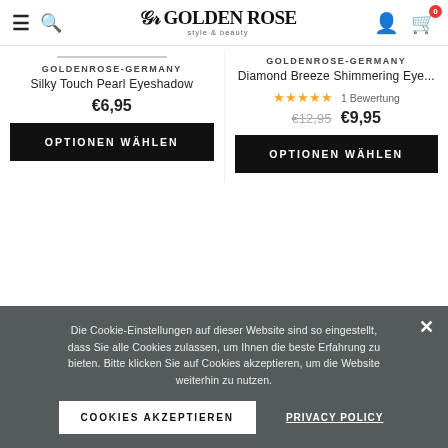Golden Rose style & beauty — Navigation bar with hamburger, search, logo, user, cart (0)
GOLDENROSE-GERMANY
Silky Touch Pearl Eyeshadow
€6,95
OPTIONEN WÄHLEN
GOLDENROSE-GERMANY
Diamond Breeze Shimmering Eye...
★★★★★ 1 Bewertung
€12,95  €9,95
OPTIONEN WÄHLEN
Die Cookie-Einstellungen auf dieser Website sind so eingestellt, dass Sie alle Cookies zulassen, um Ihnen die beste Erfahrung zu bieten. Bitte klicken Sie auf Cookies akzeptieren, um die Website weiterhin zu nutzen.
COOKIES AKZEPTIEREN  PRIVACY POLICY